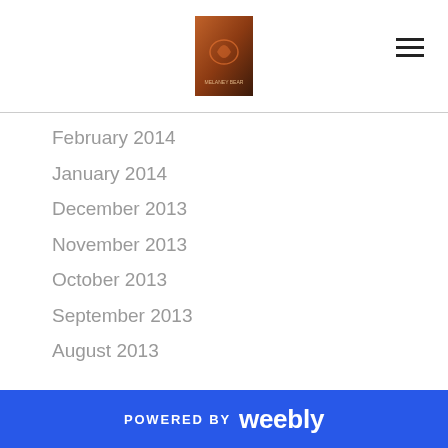[Figure (logo): Website logo/book cover image centered in header]
February 2014
January 2014
December 2013
November 2013
October 2013
September 2013
August 2013
July 2013
June 2013
May 2013
April 2013
March 2013
February 2013
January 2013
POWERED BY weebly